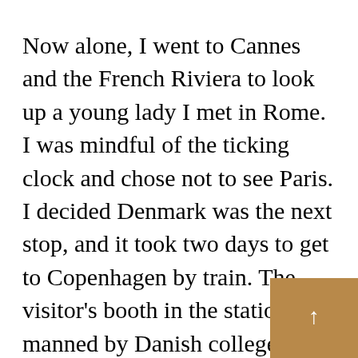Now alone, I went to Cannes and the French Riviera to look up a young lady I met in Rome. I was mindful of the ticking clock and chose not to see Paris. I decided Denmark was the next stop, and it took two days to get to Copenhagen by train. The visitor's booth in the station was manned by Danish college students who helped me find an inexpensive place to stay. I missed visiting Tivoli amusement park but was delighted by an invitation to join the students on a roundtrip evening cruise to Sweden.
I rented a bicycle, which is the most practical mode of transportation in Copenhagen. I cycled to see the iconic “Little Mermaid” statue made famous by Hans Christen Andersen. I was...